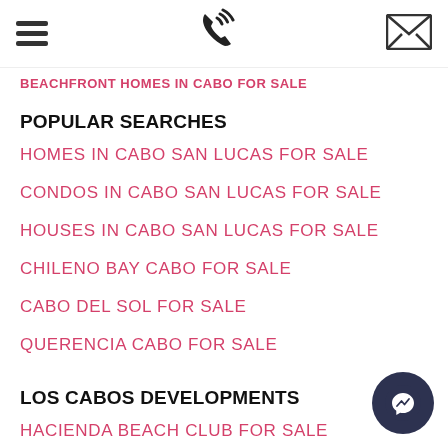[hamburger menu] [phone icon] [mail icon]
BEACHFRONT HOMES IN CABO FOR SALE
POPULAR SEARCHES
HOMES IN CABO SAN LUCAS FOR SALE
CONDOS IN CABO SAN LUCAS FOR SALE
HOUSES IN CABO SAN LUCAS FOR SALE
CHILENO BAY CABO FOR SALE
CABO DEL SOL FOR SALE
QUERENCIA CABO FOR SALE
LOS CABOS DEVELOPMENTS
HACIENDA BEACH CLUB FOR SALE